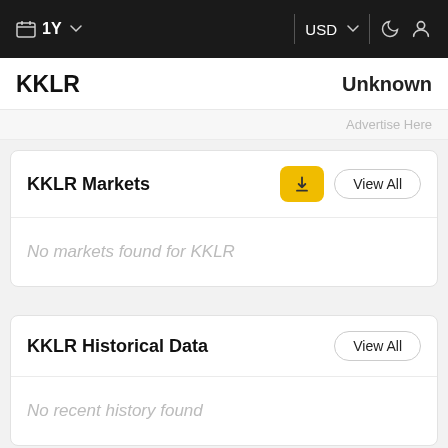1Y  USD
KKLR   Unknown
Advertise Here
KKLR Markets
No markets found for KKLR
KKLR Historical Data
No recent history found